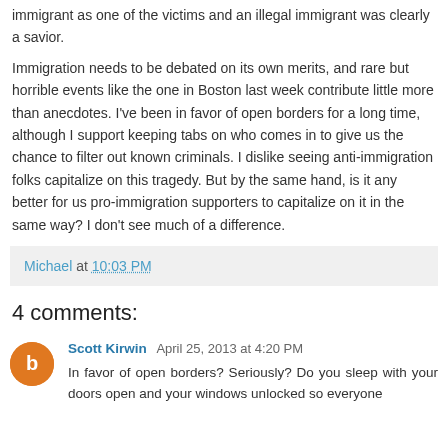immigrant as one of the victims and an illegal immigrant was clearly a savior.
Immigration needs to be debated on its own merits, and rare but horrible events like the one in Boston last week contribute little more than anecdotes. I've been in favor of open borders for a long time, although I support keeping tabs on who comes in to give us the chance to filter out known criminals. I dislike seeing anti-immigration folks capitalize on this tragedy. But by the same hand, is it any better for us pro-immigration supporters to capitalize on it in the same way? I don't see much of a difference.
Michael at 10:03 PM
4 comments:
Scott Kirwin April 25, 2013 at 4:20 PM
In favor of open borders? Seriously? Do you sleep with your doors open and your windows unlocked so everyone